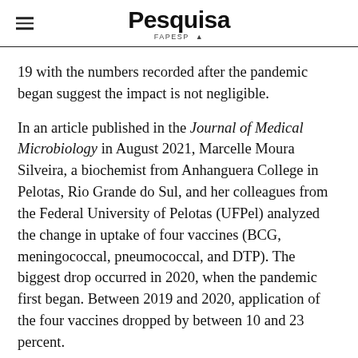Pesquisa FAPESP
19 with the numbers recorded after the pandemic began suggest the impact is not negligible.
In an article published in the Journal of Medical Microbiology in August 2021, Marcelle Moura Silveira, a biochemist from Anhanguera College in Pelotas, Rio Grande do Sul, and her colleagues from the Federal University of Pelotas (UFPel) analyzed the change in uptake of four vaccines (BCG, meningococcal, pneumococcal, and DTP). The biggest drop occurred in 2020, when the pandemic first began. Between 2019 and 2020, application of the four vaccines dropped by between 10 and 23 percent.